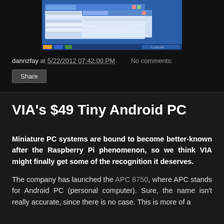[Figure (screenshot): Screenshot of a desktop interface with blue taskbar and windows, shown partially at top of page]
dannzfay at 5/22/2012 07:42:00 PM    No comments:
Share
VIA's $49 Tiny Android PC
Miniature PC systems are bound to become better-known after the Raspberry Pi phenomenon, so we think VIA might finally get some of the recognition it deserves.
The company has launched the APC 8750, where APC stands for Android PC (personal computer). Sure, the name isn't really accurate, since there is no case. This is more of a